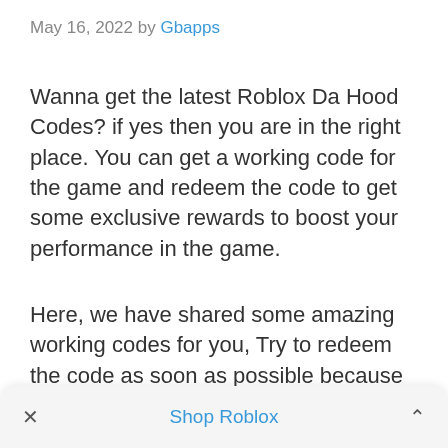May 16, 2022 by Gbapps
Wanna get the latest Roblox Da Hood Codes? if yes then you are in the right place. You can get a working code for the game and redeem the code to get some exclusive rewards to boost your performance in the game.
Here, we have shared some amazing working codes for you, Try to redeem the code as soon as possible because you never know when the code will be expired.
× Shop Roblox ^